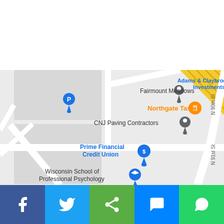[Figure (map): Google Maps screenshot showing a neighborhood in Milwaukee, Wisconsin. Visible landmarks include: Adams & Claybrooks Investments (top right, blue text), Fairmount Meadows (center, with gray pin), Northgate Taste (orange text, with orange restaurant icon), CNJ Paving Contractors (center-right, with dark pin), Prime Financial Credit Union (lower-left, blue text with blue pin), Wisconsin School of Professional Psychology (bottom, with graduation cap pin). Streets visible: N 90th St, N 89th St, N 88th St, W Stark St, N 91st St. A parking marker (blue P pin) is visible in the upper left area.]
[Figure (infographic): Social sharing bar with 5 buttons: Facebook (dark blue), Twitter (light blue), Share/generic (green), Facebook Messenger (blue), WhatsApp (green).]